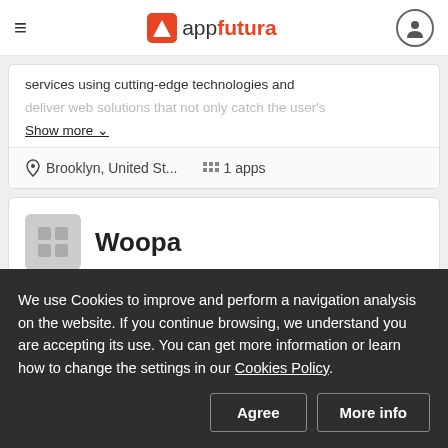appfutura
services using cutting-edge technologies and deliver web solutions that not only catch the user's
Show more
Brooklyn, United St...   1 apps
Woopa
We use Cookies to improve and perform a navigation analysis on the website. If you continue browsing, we understand you are accepting its use. You can get more information or learn how to change the settings in our Cookies Policy.
Agree
More info